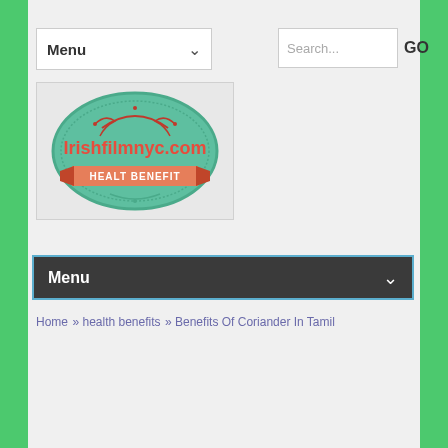Menu
[Figure (logo): Irishfilmnyc.com logo with teal oval badge shape, red text 'Irishfilmnyc.com', red ribbon banner with text 'HEALT BENEFIT']
Menu
Home » health benefits » Benefits Of Coriander In Tamil